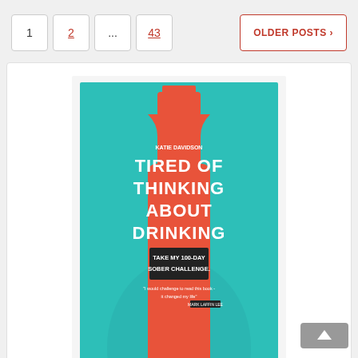Pagination: 1 ... 2 ... 43 | OLDER POSTS
[Figure (illustration): Book cover for 'Tired of Thinking About Drinking – Take My 100-Day Sober Challenge' shown in a white card alongside a yellow 'BUY THE BOOK' banner at bottom. The cover shows a large red bottle shape on a teal background.]
[Figure (other): Back-to-top arrow button in grey at bottom right]